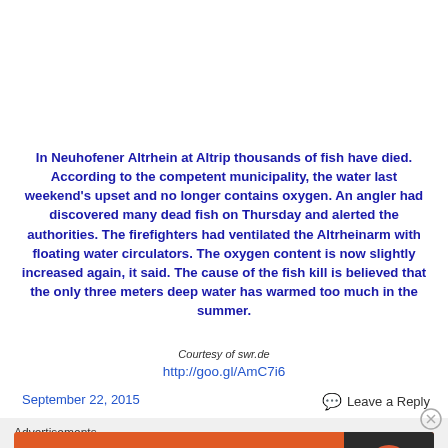In Neuhofener Altrhein at Altrip thousands of fish have died. According to the competent municipality, the water last weekend's upset and no longer contains oxygen. An angler had discovered many dead fish on Thursday and alerted the authorities. The firefighters had ventilated the Altrheinarm with floating water circulators. The oxygen content is now slightly increased again, it said. The cause of the fish kill is believed that the only three meters deep water has warmed too much in the summer.
Courtesy of swr.de
http://goo.gl/AmC7i6
September 22, 2015
Leave a Reply
Advertisements
[Figure (other): DuckDuckGo advertisement banner with orange background, text 'Search, browse, and email with more privacy. All in One Free App' and DuckDuckGo logo on dark background]